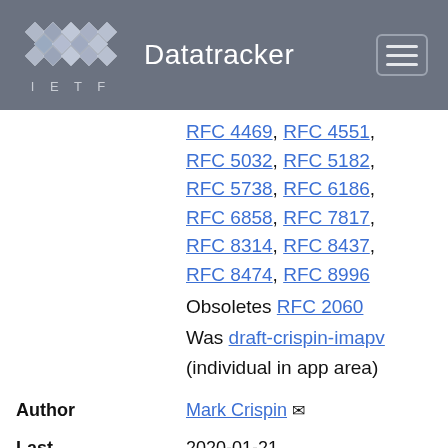IETF Datatracker
RFC 5032, RFC 5182, RFC 5738, RFC 6186, RFC 6858, RFC 7817, RFC 8314, RFC 8437, RFC 8474, RFC 8996
Obsoletes RFC 2060
Was draft-crispin-imapv
(individual in app area)
Author: Mark Crispin
Last updated: 2020-01-21
Replaces: draft-melnikov-imap-content-location
Stream: Internet Engineering Task Force (IETF)